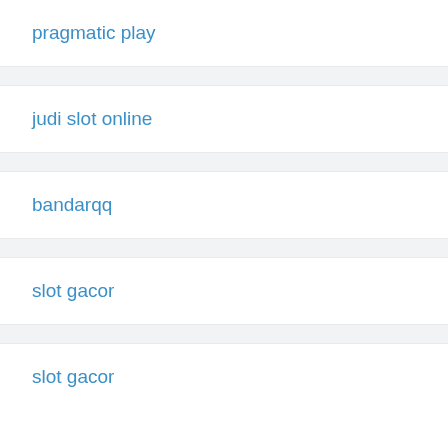pragmatic play
judi slot online
bandarqq
slot gacor
slot gacor